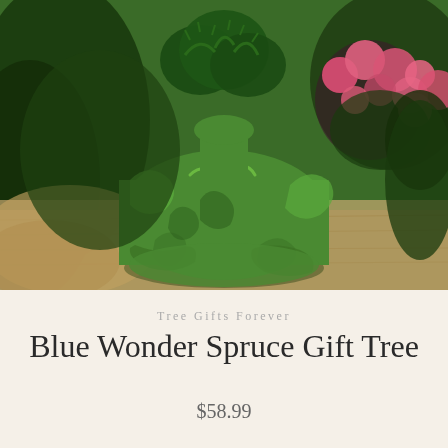[Figure (photo): A small spruce tree wrapped in green plastic/cellophane gift wrap, sitting on a burlap cloth. Pink flowers (begonias) are visible in the background to the right, with dark green foliage surrounding the scene.]
Tree Gifts Forever
Blue Wonder Spruce Gift Tree
$58.99